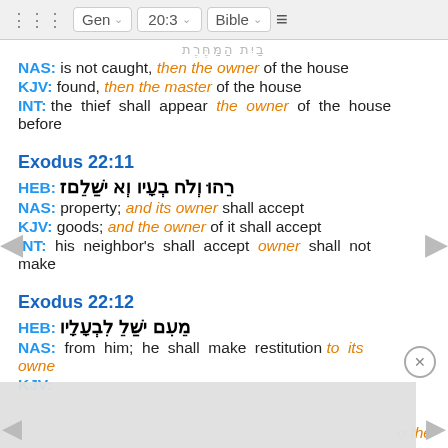Gen  20:3  Bible
NAS: is not caught, then the owner of the house
KJV: found, then the master of the house
INT: the thief shall appear the owner of the house before
Exodus 22:11
HEB: רֵ֫הוּ וְלֹ֥ח בְּעָ֑יו וְא יְשַׁלֵּ֖ם
NAS: property; and its owner shall accept
KJV: goods; and the owner of it shall accept
INT: his neighbor's shall accept owner shall not make
Exodus 22:12
HEB: מֵ֣עִ֔ם יְשַׁ֖לֵּ לִבְעָלָ֑יו
NAS: from him; he shall make restitution to its owner
KJV: o the